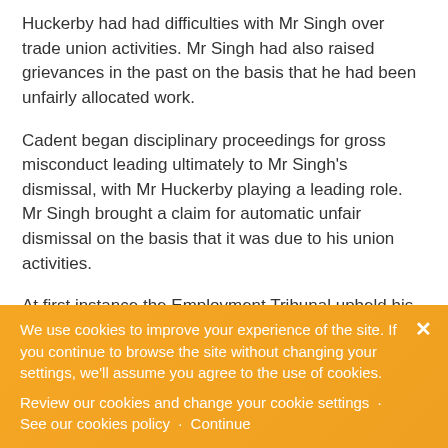Huckerby had had difficulties with Mr Singh over trade union activities. Mr Singh had also raised grievances in the past on the basis that he had been unfairly allocated work.
Cadent began disciplinary proceedings for gross misconduct leading ultimately to Mr Singh's dismissal, with Mr Huckerby playing a leading role. Mr Singh brought a claim for automatic unfair dismissal on the basis that it was due to his union activities.
At first instance the Employment Tribunal upheld his claim. Internal emails from Mr
We use cookies to improve your experience of the site. If you continue to browse the site without changing your settings, we'll assume you agree to the use of cookies.
Review our cookies and change your cookie settings · See our cookies policy · Continue